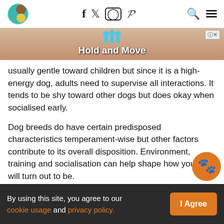[Figure (logo): Circular pet website logo with animal faces]
[Figure (screenshot): Advertisement banner showing 'Hold and Move' with animated figures on a wooden background]
usually gentle toward children but since it is a high-energy dog, adults need to supervise all interactions. It tends to be shy toward other dogs but does okay when socialised early.
Dog breeds do have certain predisposed characteristics temperament-wise but other factors contribute to its overall disposition. Environment, training and socialisation can help shape how your dog will turn out to be.
By using this site, you agree to our cookie usage and privacy policy. [I Agree]